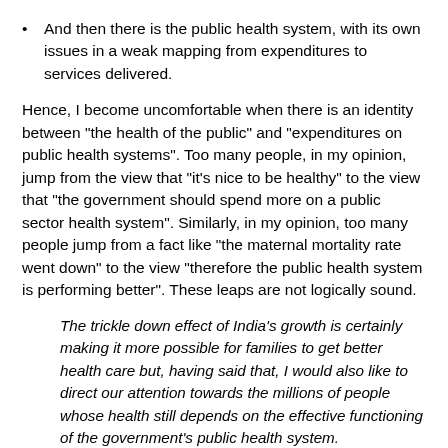And then there is the public health system, with its own issues in a weak mapping from expenditures to services delivered.
Hence, I become uncomfortable when there is an identity between "the health of the public" and "expenditures on public health systems". Too many people, in my opinion, jump from the view that "it's nice to be healthy" to the view that "the government should spend more on a public sector health system". Similarly, in my opinion, too many people jump from a fact like "the maternal mortality rate went down" to the view "therefore the public health system is performing better". These leaps are not logically sound.
The trickle down effect of India's growth is certainly making it more possible for families to get better health care but, having said that, I would also like to direct our attention towards the millions of people whose health still depends on the effective functioning of the government's public health system.